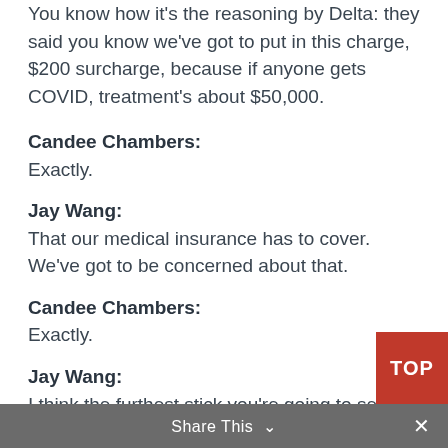You know how it's the reasoning by Delta: they said you know we've got to put in this charge, $200 surcharge, because if anyone gets COVID, treatment's about $50,000.
Candee Chambers:
Exactly.
Jay Wang:
That our medical insurance has to cover. We've got to be concerned about that.
Candee Chambers:
Exactly.
Jay Wang:
I think the furthest stick you're going to see is those who say, “Listen, either you get vaccinated or you’re getting terminated.” That's the all or nothing approach. I'd try and
Share This